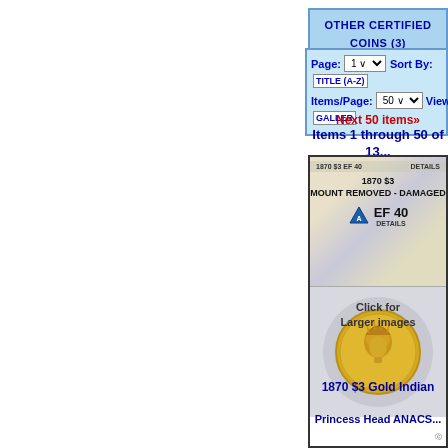OTHER CERTIFIED COINS (3)
Page: 1  Sort By: TITLE (A-Z)  Items/Page: 50  View: GALLERY
Next 50 items»  Items 1 through 50 of 13... items
[Figure (photo): ANACS certified coin slab showing 1870 $3 EF 40 DETAILS grade with gold Indian Princess coin inside holder]
Click for Larger images
1870 $3 Gold Indian Princess Head ANACS...